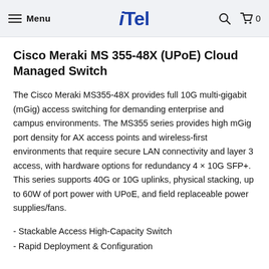Menu | iTel | 🔍 | 🛒 0
Cisco Meraki MS 355-48X (UPoE) Cloud Managed Switch
The Cisco Meraki MS355-48X provides full 10G multi-gigabit (mGig) access switching for demanding enterprise and campus environments. The MS355 series provides high mGig port density for AX access points and wireless-first environments that require secure LAN connectivity and layer 3 access, with hardware options for redundancy 4 × 10G SFP+. This series supports 40G or 10G uplinks, physical stacking, up to 60W of port power with UPoE, and field replaceable power supplies/fans.
- Stackable Access High-Capacity Switch
- Rapid Deployment & Configuration